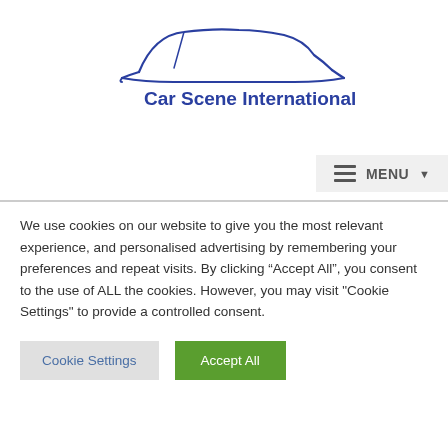[Figure (logo): Car Scene International logo with car silhouette outline and blue bold text]
[Figure (other): MENU navigation bar with hamburger icon and dropdown arrow]
We use cookies on our website to give you the most relevant experience, and personalised advertising by remembering your preferences and repeat visits. By clicking “Accept All”, you consent to the use of ALL the cookies. However, you may visit "Cookie Settings" to provide a controlled consent.
Cookie Settings
Accept All